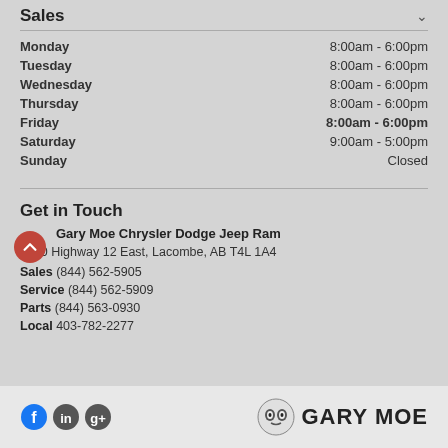Sales
| Day | Hours |
| --- | --- |
| Monday | 8:00am - 6:00pm |
| Tuesday | 8:00am - 6:00pm |
| Wednesday | 8:00am - 6:00pm |
| Thursday | 8:00am - 6:00pm |
| Friday | 8:00am - 6:00pm |
| Saturday | 9:00am - 5:00pm |
| Sunday | Closed |
Get in Touch
Gary Moe Chrysler Dodge Jeep Ram
4450 Highway 12 East, Lacombe, AB T4L 1A4
Sales  (844) 562-5905
Service  (844) 562-5909
Parts  (844) 563-0930
Local  403-782-2277
[Figure (logo): Gary Moe logo with stylized owl/face emblem and GARY MOE text]